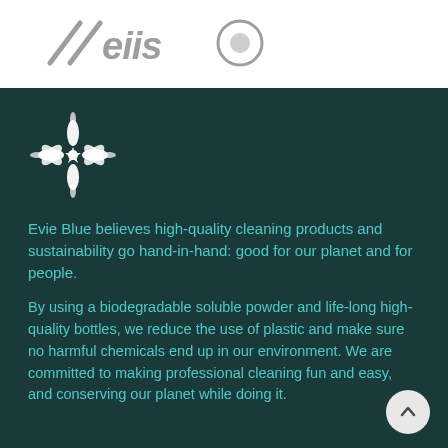[Figure (logo): Stylized italic 'eiis' or similar brand name logo in grey, with a circular brand icon to the right]
[Figure (illustration): White decorative snowflake/flower mandala icon on dark teal background]
Evie Blue believes high-quality cleaning products and sustainability go hand-in-hand: good for our planet and for people.
By using a biodegradable soluble powder and life-long high-quality bottles, we reduce the use of plastic and make sure no harmful chemicals end up in our environment. We are committed to making professional cleaning fun and easy, and conserving our planet while doing it.